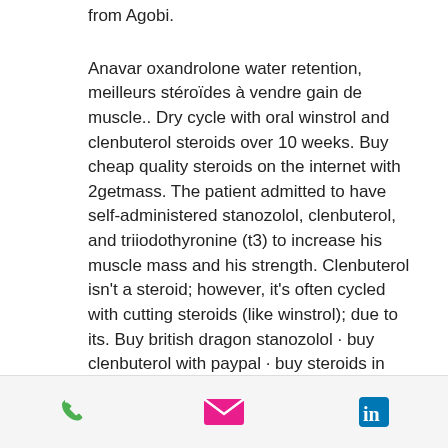from Agobi.
Anavar oxandrolone water retention, meilleurs stéroïdes à vendre gain de muscle.. Dry cycle with oral winstrol and clenbuterol steroids over 10 weeks. Buy cheap quality steroids on the internet with 2getmass. The patient admitted to have self-administered stanozolol, clenbuterol, and triiodothyronine (t3) to increase his muscle mass and his strength. Clenbuterol isn't a steroid; however, it's often cycled with cutting steroids (like winstrol); due to its. Buy british dragon stanozolol · buy clenbuterol with paypal · buy steroids in california · buy winstrol from canada. Oxymetholone (anadrol), or "drol"; stanozolol (winstrol), or "winny". Clenbuterol, oxa, oxy, proviron, dianabol, winstrol de laboratorio blak
phone | email | linkedin